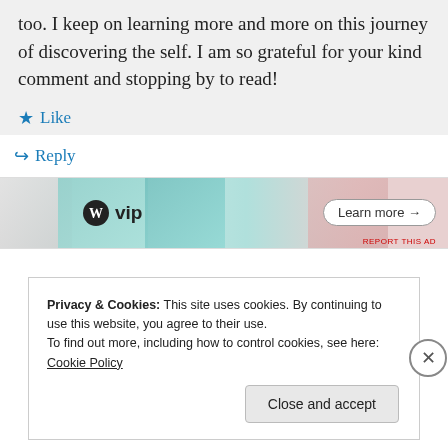too. I keep on learning more and more on this journey of discovering the self. I am so grateful for your kind comment and stopping by to read!
Like
Reply
[Figure (other): WordPress VIP advertisement banner with logos for Slack and Facebook, and a Learn more button]
Privacy & Cookies: This site uses cookies. By continuing to use this website, you agree to their use.
To find out more, including how to control cookies, see here: Cookie Policy
Close and accept